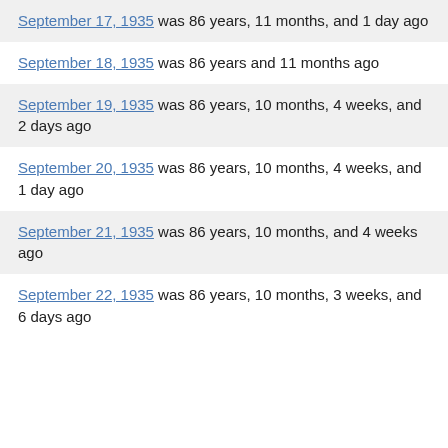September 17, 1935 was 86 years, 11 months, and 1 day ago
September 18, 1935 was 86 years and 11 months ago
September 19, 1935 was 86 years, 10 months, 4 weeks, and 2 days ago
September 20, 1935 was 86 years, 10 months, 4 weeks, and 1 day ago
September 21, 1935 was 86 years, 10 months, and 4 weeks ago
September 22, 1935 was 86 years, 10 months, 3 weeks, and 6 days ago